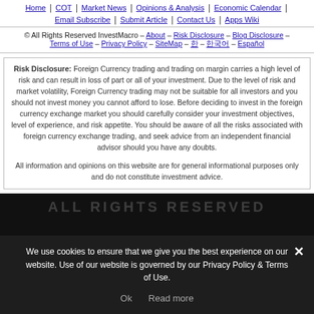Home | COT | Market News | Opinions & Analysis | Economic Calendar | Email Subscribe | Submit Article | Contact Us | Apps Wiki
© All Rights Reserved InvestMacro – About – Risk Disclosure – Blog Disclosure – Terms of Use – Privacy Policy – SiteMap – 한 – 한국어 – Español
Risk Disclosure: Foreign Currency trading and trading on margin carries a high level of risk and can result in loss of part or all of your investment. Due to the level of risk and market volatility, Foreign Currency trading may not be suitable for all investors and you should not invest money you cannot afford to lose. Before deciding to invest in the foreign currency exchange market you should carefully consider your investment objectives, level of experience, and risk appetite. You should be aware of all the risks associated with foreign currency exchange trading, and seek advice from an independent financial advisor should you have any doubts.

All information and opinions on this website are for general informational purposes only and do not constitute investment advice.
We use cookies to ensure that we give you the best experience on our website. Use of our website is governed by our Privacy Policy & Terms of Use.